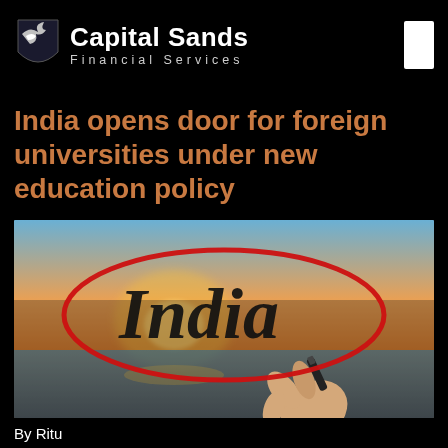Capital Sands Financial Services
India opens door for foreign universities under new education policy
[Figure (photo): A hand writing 'India' in cursive on a glass surface with a marker, surrounded by a red circle drawn on the glass. Background shows a blurred sunset over water.]
By Ritu